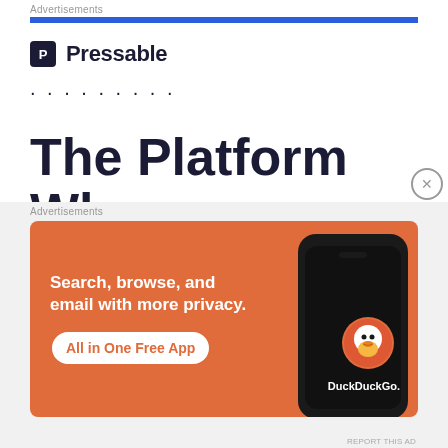Advertisements
[Figure (logo): Pressable logo with blue bar and dots, followed by large bold text 'The Platform Where WordPress' in dark navy and blue]
Advertisements
[Figure (infographic): DuckDuckGo advertisement banner on orange background: 'Search, browse, and email with more privacy. All in One Free App' with phone mockup showing DuckDuckGo logo]